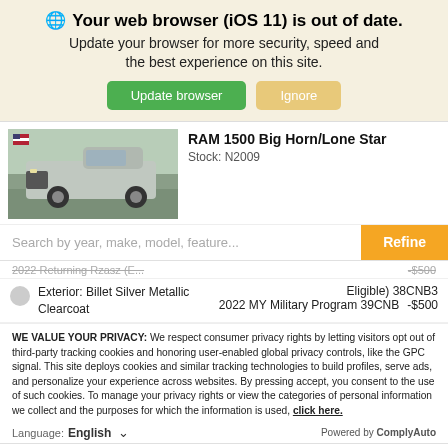Your web browser (iOS 11) is out of date. Update your browser for more security, speed and the best experience on this site.
RAM 1500 Big Horn/Lone Star
Stock: N2009
[Figure (photo): Silver RAM 1500 pickup truck parked outdoors at a dealership lot.]
Search by year, make, model, feature...
Eligible) 38CNB3
2022 MY Military Program 39CNB   -$500
Exterior: Billet Silver Metallic Clearcoat
WE VALUE YOUR PRIVACY: We respect consumer privacy rights by letting visitors opt out of third-party tracking cookies and honoring user-enabled global privacy controls, like the GPC signal. This site deploys cookies and similar tracking technologies to build profiles, serve ads, and personalize your experience across websites. By pressing accept, you consent to the use of such cookies. To manage your privacy rights or view the categories of personal information we collect and the purposes for which the information is used, click here.
Language:  English        Powered by ComplyAuto
Accept and Continue →    Privacy Policy    ×